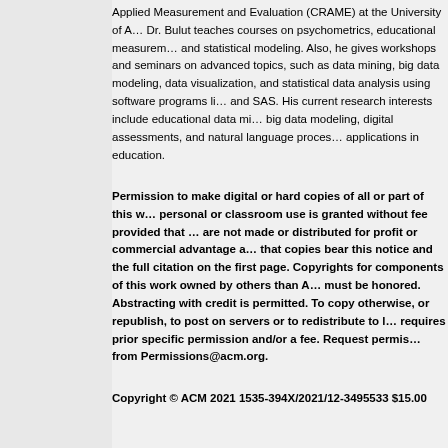Applied Measurement and Evaluation (CRAME) at the University of A… Dr. Bulut teaches courses on psychometrics, educational measurem… and statistical modeling. Also, he gives workshops and seminars on advanced topics, such as data mining, big data modeling, data visualization, and statistical data analysis using software programs li… and SAS. His current research interests include educational data mi… big data modeling, digital assessments, and natural language proces… applications in education.
Permission to make digital or hard copies of all or part of this w… personal or classroom use is granted without fee provided that … are not made or distributed for profit or commercial advantage a… that copies bear this notice and the full citation on the first page. Copyrights for components of this work owned by others than A… must be honored. Abstracting with credit is permitted. To copy otherwise, or republish, to post on servers or to redistribute to l… requires prior specific permission and/or a fee. Request permis… from Permissions@acm.org.
Copyright © ACM 2021 1535-394X/2021/12-3495533 $15.00